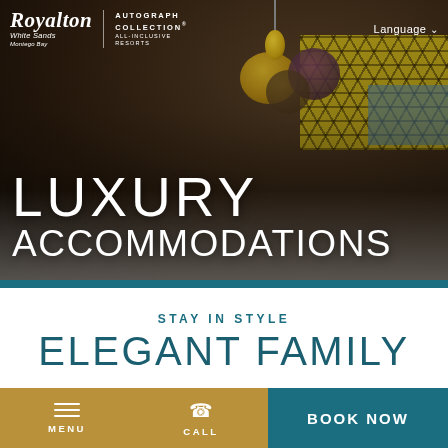[Figure (photo): Hero image of a family (man, woman, two children) sitting on a white bed in a luxury hotel room with decorative colorful orbs and honeycomb-patterned wall panel in background. Text overlay reads 'LUXURY ACCOMMODATIONS'. Royalton White Sands Montego Bay logo and Autograph Collection All-Inclusive Resorts logo in top-left. Language selector in top-right.]
LUXURY ACCOMMODATIONS
STAY IN STYLE
ELEGANT FAMILY
MENU   CALL   BOOK NOW